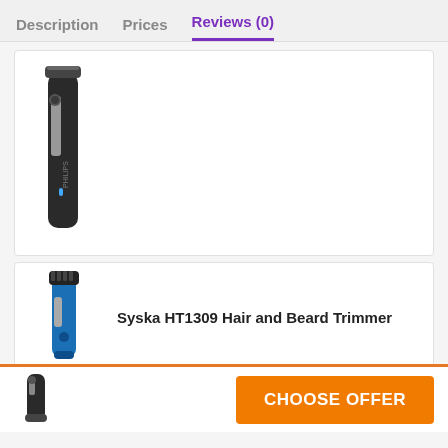Description   Prices   Reviews (0)
[Figure (photo): Philips black body trimmer/groomer device shown vertically]
Syska HT1309 Hair and Beard Trimmer
[Figure (photo): Syska HT1309 blue and black beard trimmer shown vertically]
SYSKA HT200U Beard Trimmer
[Figure (photo): SYSKA HT200U dark beard trimmer, partially visible]
[Figure (photo): Small thumbnail of a trimmer in the sticky bottom bar]
CHOOSE OFFER